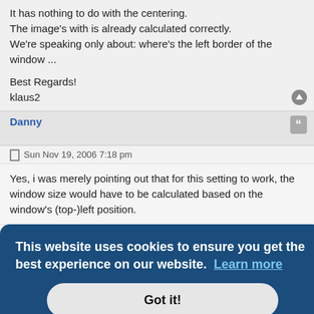It has nothing to do with the centering.
The image's with is already calculated correctly.
We're speaking only about: where's the left border of the window ...
Best Regards!
klaus2
Danny
Sun Nov 19, 2006 7:18 pm
Yes, i was merely pointing out that for this setting to work, the window size would have to be calculated based on the window's (top-)left position.
This website uses cookies to ensure you get the best experience on our website.  Learn more
Got it!
the
do it.